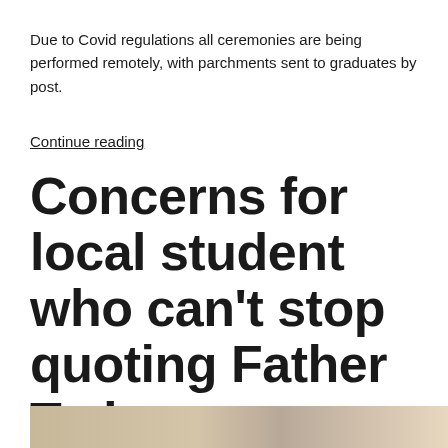Due to Covid regulations all ceremonies are being performed remotely, with parchments sent to graduates by post.
Continue reading
Concerns for local student who can't stop quoting Father Ted
[Figure (photo): Partial photo visible at bottom of page, appears to show documents or papers]